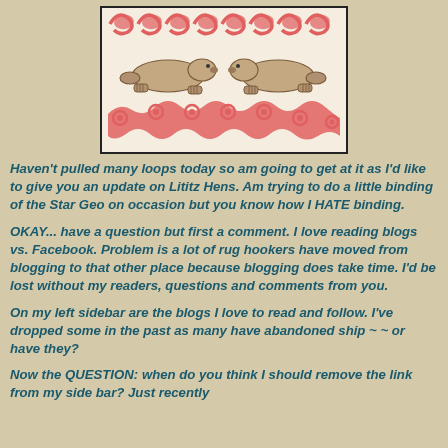[Figure (illustration): Folk art style illustration showing two beaver-like animals facing each other, surrounded by decorative red scroll/wave patterns at top and bottom, on a light background with a black border.]
Haven't pulled many loops today so am going to get at it as I'd like to give you an update on Lititz Hens.  Am trying to do a little binding of the Star Geo on occasion but you know how I HATE binding.
OKAY... have a question but first a comment.  I love reading blogs vs. Facebook.  Problem is a lot of rug hookers have moved from blogging to that other place because blogging does take time.  I'd be lost without my readers, questions and comments from you.
On my left sidebar are the blogs I love to read and follow.  I've dropped some in the past as many have abandoned ship ~ ~ or have they?
Now the QUESTION:  when do you think I should remove the link from my side bar?  Just recently